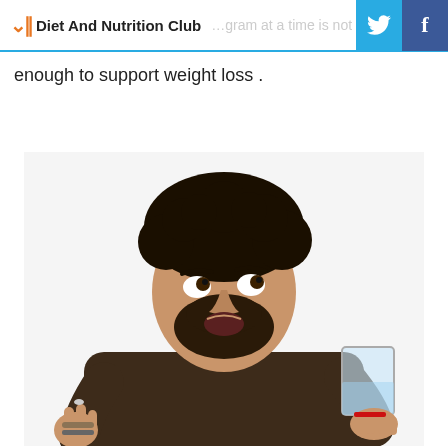Diet And Nutrition Club  …gram at a time is not enough to support weight loss .
enough to support weight loss .
[Figure (photo): A bearded man with curly hair holding a small pill between his fingers with one hand and a glass of water in the other hand, looking surprised or hesitant. He is wearing a dark brown shirt with bracelets on his wrist. White background.]